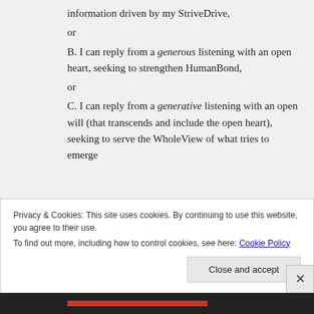information driven by my StriveDrive,
or
B. I can reply from a generous listening with an open heart, seeking to strengthen HumanBond,
or
C. I can reply from a generative listening with an open will (that transcends and include the open heart), seeking to serve the WholeView of what tries to emerge
Privacy & Cookies: This site uses cookies. By continuing to use this website, you agree to their use. To find out more, including how to control cookies, see here: Cookie Policy
Close and accept